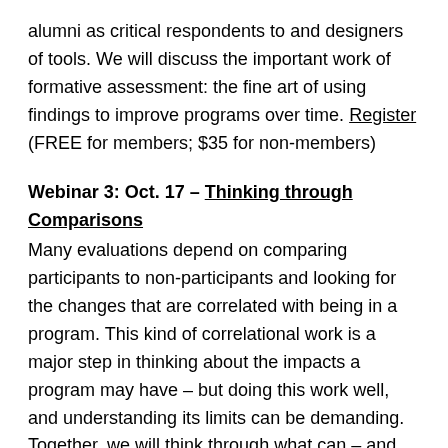alumni as critical respondents to and designers of tools. We will discuss the important work of formative assessment: the fine art of using findings to improve programs over time. Register (FREE for members; $35 for non-members)
Webinar 3: Oct. 17 – Thinking through Comparisons
Many evaluations depend on comparing participants to non-participants and looking for the changes that are correlated with being in a program. This kind of correlational work is a major step in thinking about the impacts a program may have – but doing this work well, and understanding its limits can be demanding. Together, we will think through what can – and can't – be learned through this approach. Register (FREE for members; $35 for